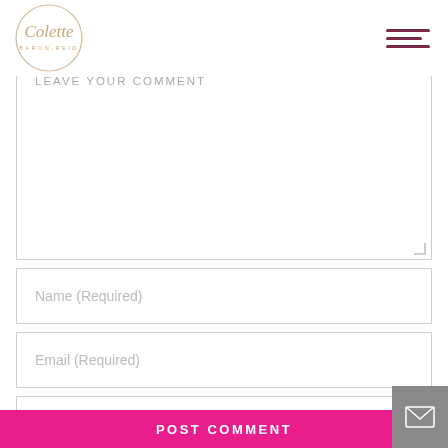Colette Baron-Reid — site header with logo and hamburger menu
LEAVE YOUR COMMENT
Name (Required)
Email (Required)
Website
POST COMMENT